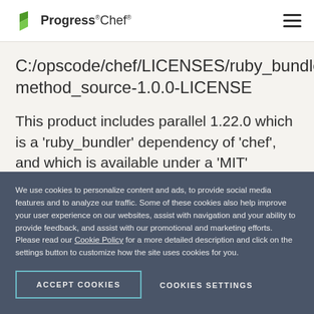Progress Chef
C:/opscode/chef/LICENSES/ruby_bundler-method_source-1.0.0-LICENSE
This product includes parallel 1.22.0 which is a 'ruby_bundler' dependency of 'chef', and which is available under a 'MIT' License. For details, see: C:/opscode/chef/LICENSES/ruby_bundler-parallel-1.22.0-MIT-LICENSE.txt
We use cookies to personalize content and ads, to provide social media features and to analyze our traffic. Some of these cookies also help improve your user experience on our websites, assist with navigation and your ability to provide feedback, and assist with our promotional and marketing efforts. Please read our Cookie Policy for a more detailed description and click on the settings button to customize how the site uses cookies for you.
ACCEPT COOKIES
COOKIES SETTINGS